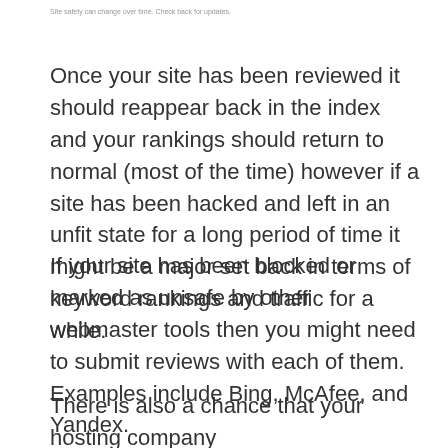Site safety can change over time. Check back for updates.
Once your site has been reviewed it should reappear back in the index and your rankings should return to normal (most of the time) however if a site has been hacked and left in an unfit state for a long period of time it might be a major set back in terms of keyword rankings and traffic for a while.
If your site has been blocked or marked as unsafe by other webmaster tools then you might need to submit reviews with each of them. Examples include Bing, McAfee, and Yandex.
There is also a chance that your hosting company